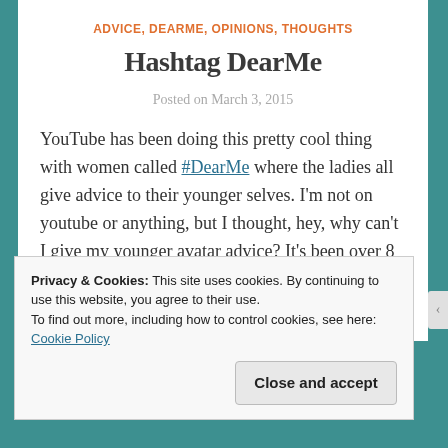ADVICE, DEARME, OPINIONS, THOUGHTS
Hashtag DearMe
Posted on March 3, 2015
YouTube has been doing this pretty cool thing with women called #DearMe where the ladies all give advice to their younger selves. I'm not on youtube or anything, but I thought, hey, why can't I give my younger avatar advice? It's been over 8 years since I first came to SL and I've learned stuff! So I'm
Privacy & Cookies: This site uses cookies. By continuing to use this website, you agree to their use.
To find out more, including how to control cookies, see here: Cookie Policy
Close and accept